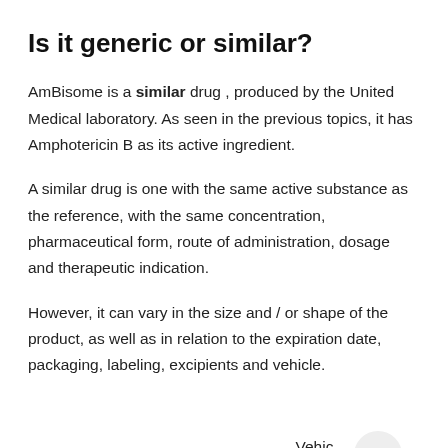Is it generic or similar?
AmBisome is a similar drug , produced by the United Medical laboratory. As seen in the previous topics, it has Amphotericin B as its active ingredient.
A similar drug is one with the same active substance as the reference, with the same concentration, pharmaceutical form, route of administration, dosage and therapeutic indication.
However, it can vary in the size and / or shape of the product, as well as in relation to the expiration date, packaging, labeling, excipients and vehicle.
Vehicles are